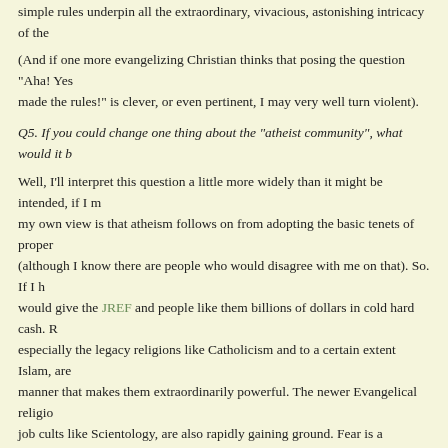simple rules underpin all the extraordinary, vivacious, astonishing intricacy of the...
(And if one more evangelizing Christian thinks that posing the question "Aha! Yes... made the rules!" is clever, or even pertinent, I may very well turn violent).
Q5. If you could change one thing about the “atheist community”, what would it b...
Well, I’ll interpret this question a little more widely than it might be intended, if I m... my own view is that atheism follows on from adopting the basic tenets of proper... (although I know there are people who would disagree with me on that). So. If I h... would give the JREF and people like them billions of dollars in cold hard cash. R... especially the legacy religions like Catholicism and to a certain extent Islam, are... manner that makes them extraordinarily powerful. The newer Evangelical religio... job cults like Scientology, are also rapidly gaining ground. Fear is a tremendous... it comes to reinforcing religious belief, but there can be no doubt that in the Grea... Irrational, money is the lubricant. The ‘atheist community’ (whatever that means)... generally the skeptical community, both need money for education. Education is... with which to fight superstition.
Q6. If your child came up to you and said “I’m joining the clergy”, what would be... response?
“Here, my child, I’ve had your robes in the closet waiting for this moment. Welco... Church of the Tetherd Cow.”
Oh. Sorry, you meant a conventional religion didn’t you? Why would a child of m... do that? They’re not insane.